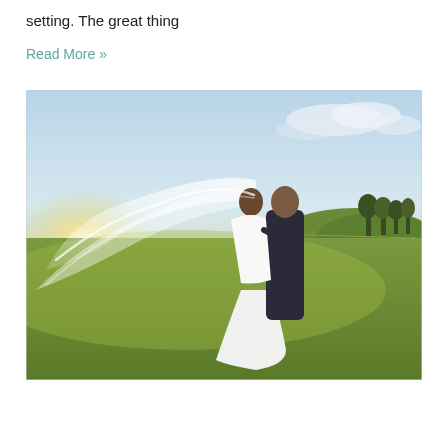setting. The great thing
Read More »
[Figure (photo): A bride and groom standing in an open green field at sunset. The bride's long white veil is blowing dramatically in the wind behind them. The groom is dressed in a dark suit. The background shows rolling green hills and a wide open sky with soft golden sunlight.]